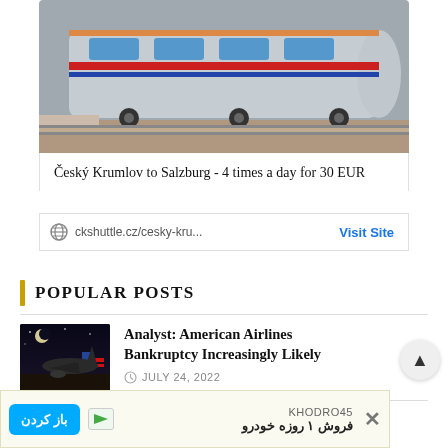[Figure (photo): Advertisement card showing a modern train at a station platform with red and blue stripes]
Český Krumlov to Salzburg - 4 times a day for 30 EUR
ckshuttle.cz/cesky-kru...   Visit Site
POPULAR POSTS
[Figure (photo): Night photo of American Airlines plane on tarmac with moon in background]
Analyst: American Airlines Bankruptcy Increasingly Likely
JULY 24, 2022
Comically Bad: Avianca 787 Business Class
باز کردن  KHODRO45  فروش ۱ روزه خودرو